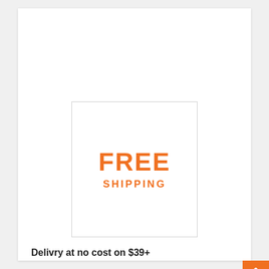[Figure (infographic): A white card with a bordered box containing orange bold text 'FREE' and below it 'SHIPPING' in orange. Below the box is bold text 'Delivry at no cost on $39+'. At the bottom is an orange 'GET CODE' button with a hatched reveal code box showing '39'. A small orange scroll-to-top arrow button is at bottom right.]
FREE SHIPPING
Delivry at no cost on $39+
GET CODE
39